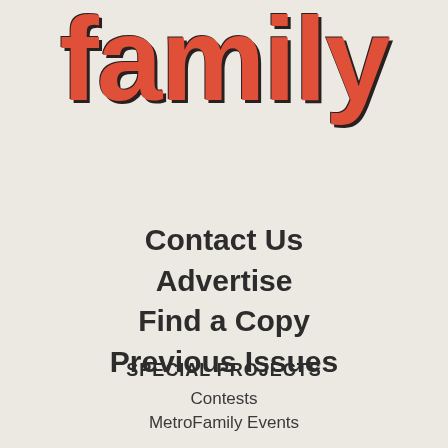[Figure (logo): Metro Family magazine logo showing the word 'family' in large red rounded bold font with dark shadow/outline effect]
Contact Us
Advertise
Find a Copy
Previous Issues
SPECIAL PROJECTS
Contests
MetroFamily Events